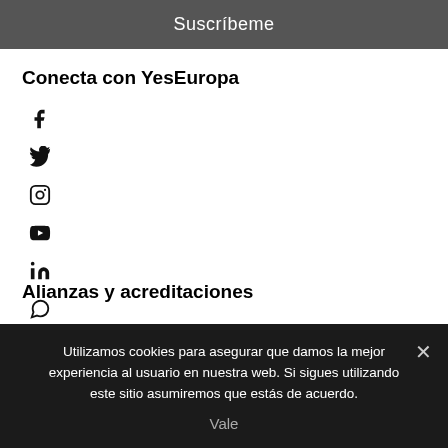Suscríbeme
Conecta con YesEuropa
[Figure (infographic): Social media icons: Facebook, Twitter, Instagram, YouTube, LinkedIn, WhatsApp]
Alianzas y acreditaciones
Utilizamos cookies para asegurar que damos la mejor experiencia al usuario en nuestra web. Si sigues utilizando este sitio asumiremos que estás de acuerdo.
Vale